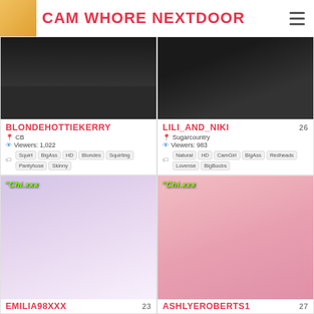CAM WHORE NEXTDOOR
[Figure (photo): Thumbnail photo for BLONDEHOTTIEKERRY, dark background]
BLONDEHOTTIEKERRY
📍 CB
👁 Viewers: 1,022
Squirt  BigAss  HD  Blondes  Squirting  Pantyhose  Skinny
[Figure (photo): Thumbnail photo for LILI_AND_NIKI, dark background, age 26]
LILI_AND_NIKI 26
📍 Sugarcountry
👁 Viewers: 983
Natural  HD  CamGirl  BigAss  Redheads  Lovense  BigBoobs
[Figure (photo): Thumbnail photo for EMILIA98XXX, light pink background, Chi.xxx watermark, age 23]
EMILIA98XXX 23
[Figure (photo): Thumbnail photo for ASHLYEROBERTS1, pink background, Chi.xxx watermark, age 27]
ASHLYEROBERTS1 27